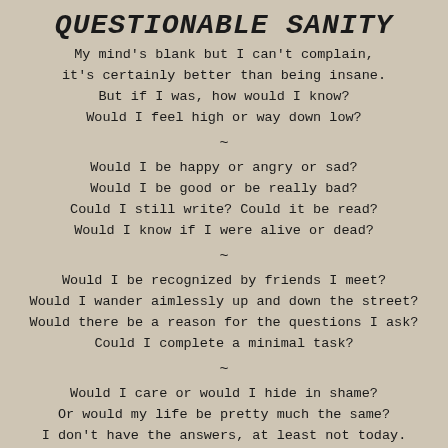QUESTIONABLE SANITY
My mind's blank but I can't complain,
it's certainly better than being insane.
But if I was, how would I know?
Would I feel high or way down low?
~
Would I be happy or angry or sad?
Would I be good or be really bad?
Could I still write? Could it be read?
Would I know if I were alive or dead?
~
Would I be recognized by friends I meet?
Would I wander aimlessly up and down the street?
Would there be a reason for the questions I ask?
Could I complete a minimal task?
~
Would I care or would I hide in shame?
Or would my life be pretty much the same?
I don't have the answers, at least not today.
But if I'm asking, I'm probably OK.